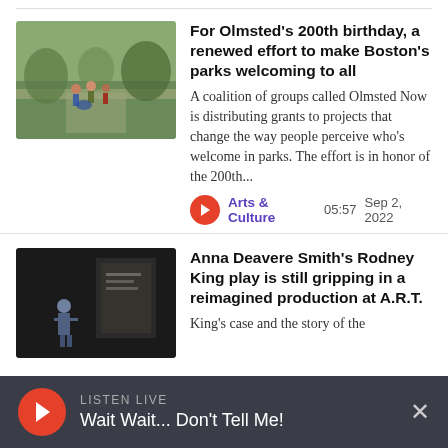[Figure (photo): Thumbnail photo of people walking on a park path]
For Olmsted's 200th birthday, a renewed effort to make Boston's parks welcoming to all
A coalition of groups called Olmsted Now is distributing grants to projects that change the way people perceive who's welcome in parks. The effort is in honor of the 200th...
Arts & Culture  05:57  Sep 2, 2022
[Figure (photo): Thumbnail photo of a person standing near a wall in a dark setting]
Anna Deavere Smith's Rodney King play is still gripping in a reimagined production at A.R.T.
King's case and the story of the
LISTEN LIVE
Wait Wait... Don't Tell Me!